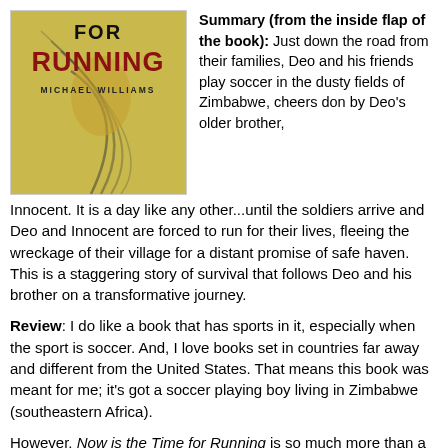[Figure (photo): Book cover of 'Now is the Time for Running' by Michael Williams, with title text in bold black and red lettering on a golden/yellow background with decorative curved lines.]
Summary (from the inside flap of the book): Just down the road from their families, Deo and his friends play soccer in the dusty fields of Zimbabwe, cheers don by Deo's older brother, Innocent. It is a day like any other...until the soldiers arrive and Deo and Innocent are forced to run for their lives, fleeing the wreckage of their village for a distant promise of safe haven. This is a staggering story of survival that follows Deo and his brother on a transformative journey.
Review: I do like a book that has sports in it, especially when the sport is soccer. And, I love books set in countries far away and different from the United States. That means this book was meant for me; it's got a soccer playing boy living in Zimbabwe (southeastern Africa).
However, Now is the Time for Running is so much more than a sports book. Yes, Deo plays soccer, but soccer is a means to keep him going, to help him through the tough times, and